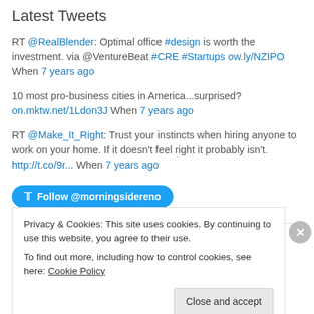Latest Tweets
RT @RealBlender: Optimal office #design is worth the investment. via @VentureBeat #CRE #Startups ow.ly/NZIPO When 7 years ago
10 most pro-business cities in America...surprised? on.mktw.net/1Ldon3J When 7 years ago
RT @Make_It_Right: Trust your instincts when hiring anyone to work on your home. If it doesn't feel right it probably isn't. http://t.co/9r... When 7 years ago
Follow @morningsidereno
Privacy & Cookies: This site uses cookies. By continuing to use this website, you agree to their use.
To find out more, including how to control cookies, see here: Cookie Policy
Close and accept